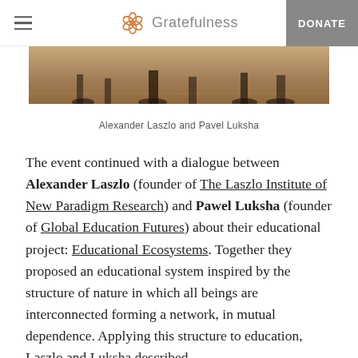Gratefulness  DONATE
[Figure (photo): Partial photo showing chairs and wooden floor, feet visible at bottom]
Alexander Laszlo and Pavel Luksha
The event continued with a dialogue between Alexander Laszlo (founder of The Laszlo Institute of New Paradigm Research) and Pawel Luksha (founder of Global Education Futures) about their educational project: Educational Ecosystems. Together they proposed an educational system inspired by the structure of nature in which all beings are interconnected forming a network, in mutual dependence. Applying this structure to education, Laszlo and Luksha described,